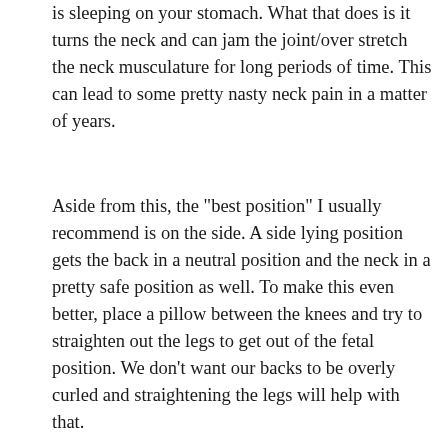is sleeping on your stomach. What that does is it turns the neck and can jam the joint/over stretch the neck musculature for long periods of time. This can lead to some pretty nasty neck pain in a matter of years.
Aside from this, the "best position" I usually recommend is on the side. A side lying position gets the back in a neutral position and the neck in a pretty safe position as well. To make this even better, place a pillow between the knees and try to straighten out the legs to get out of the fetal position. We don't want our backs to be overly curled and straightening the legs will help with that.
While you may get out of your position a bit after you fall asleep that's okay. Just try that position to take away stress from the back before bedtime and make sure that mattress is in good shape.
If you want some additional help to get back your 8 hours of sleep and lose the back/neck pain more quickly than feel free to give us a ring at (804) 493-3256 (take messages 24/7) to get a free 20 minute phone